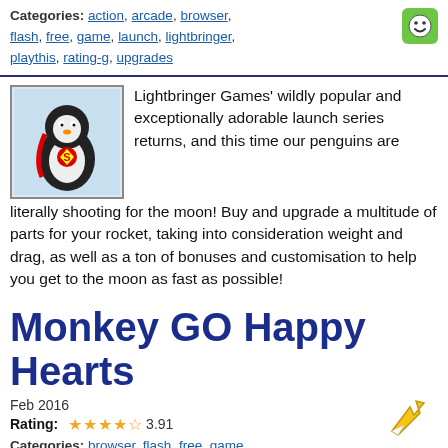Categories: action, arcade, browser, flash, free, game, launch, lightbringer, playthis, rating-g, upgrades
[Figure (illustration): Green smiley face button icon]
[Figure (illustration): Penguin in superhero costume game thumbnail]
Lightbringer Games' wildly popular and exceptionally adorable launch series returns, and this time our penguins are literally shooting for the moon! Buy and upgrade a multitude of parts for your rocket, taking into consideration weight and drag, as well as a ton of bonuses and customisation to help you get to the moon as fast as possible!
Monkey GO Happy Hearts
Feb 2016
Rating: 3.91
Categories: browser, flash, free, game, monkeygohappy, pencilkids, playthis, pointandclick, puzzle, rating-g
[Figure (illustration): Star/arrow cursor icon]
[Figure (illustration): Green smiley face button icon]
[Figure (illustration): Monkey GO Happy Hearts game thumbnail]
Do you have a special simian of your own? The monkeys in this cute point-and-click puzzle game from Pencil Kids need